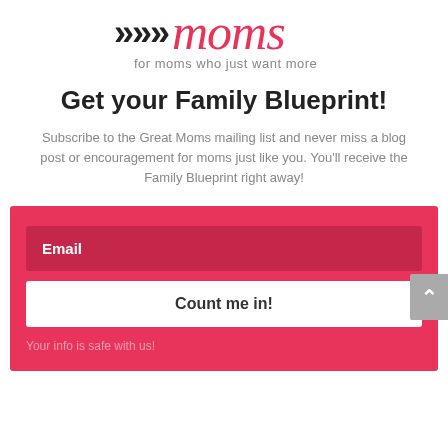[Figure (logo): Great Moms logo with black arrow chevrons and pink cursive 'moms' text, tagline 'for moms who just want more']
Get your Family Blueprint!
Subscribe to the Great Moms mailing list and never miss a blog post or encouragement for moms just like you. You'll receive the Family Blueprint right away!
Email
Count me in!
Your info is safe with us!